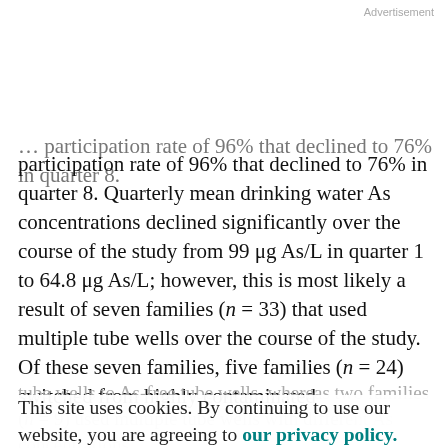Advertisement
participation rate of 96% that declined to 76% in quarter 8. Quarterly mean drinking water As concentrations declined significantly over the course of the study from 99 μg As/L in quarter 1 to 64.8 μg As/L; however, this is most likely a result of seven families (n = 33) that used multiple tube wells over the course of the study. Of these seven families, five families (n = 24) switched from highly contaminated
tube wells to As-free tube wells, whereas two families (n = 9) used multiple tube wells with different As concentrations.
This site uses cookies. By continuing to use our website, you are agreeing to our privacy policy. Accept